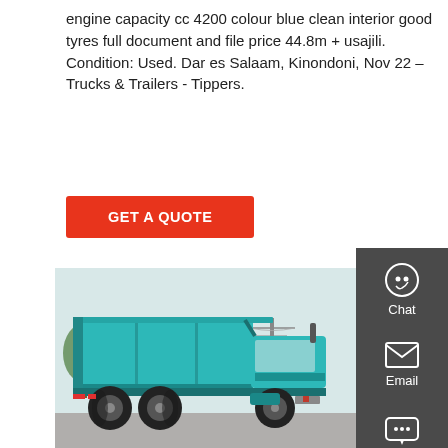engine capacity cc 4200 colour blue clean interior good tyres full document and file price 44.8m + usajili. Condition: Used. Dar es Salaam, Kinondoni, Nov 22 – Trucks & Trailers - Tippers.
GET A QUOTE
[Figure (photo): A blue/teal dump truck (tipper) viewed from the rear-side angle, parked on a paved road with trees and power lines in the background.]